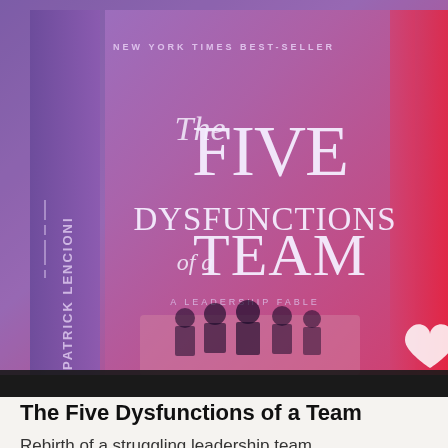[Figure (photo): Book cover photo of 'The Five Dysfunctions of a Team' by Patrick Lencioni (New York Times Bestseller, A Leadership Fable), shown with a purple-to-red/pink gradient overlay. The book spine on the left shows 'PATRICK LENCIONI' vertically. The main cover displays 'The FIVE DYSFUNCTIONS of a TEAM' in large text, with a silhouette image of people at the bottom.]
The Five Dysfunctions of a Team
Rebirth of a struggling leadership team